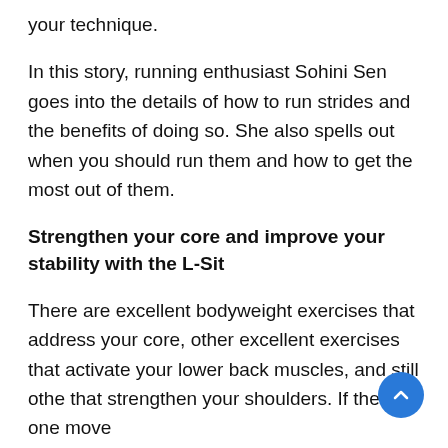your technique.
In this story, running enthusiast Sohini Sen goes into the details of how to run strides and the benefits of doing so. She also spells out when you should run them and how to get the most out of them.
Strengthen your core and improve your stability with the L-Sit
There are excellent bodyweight exercises that address your core, other excellent exercises that activate your lower back muscles, and still othe that strengthen your shoulders. If there's one move